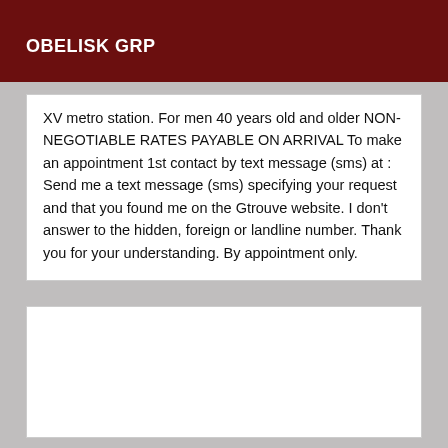OBELISK GRP
XV metro station. For men 40 years old and older NON-NEGOTIABLE RATES PAYABLE ON ARRIVAL To make an appointment 1st contact by text message (sms) at : Send me a text message (sms) specifying your request and that you found me on the Gtrouve website. I don't answer to the hidden, foreign or landline number. Thank you for your understanding. By appointment only.
[Figure (other): Empty white box area]